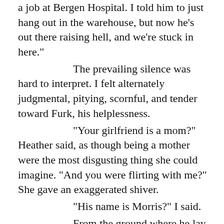a job at Bergen Hospital. I told him to just hang out in the warehouse, but now he's out there raising hell, and we're stuck in here."
	The prevailing silence was hard to interpret. I felt alternately judgmental, pitying, scornful, and tender toward Furk, his helplessness.
	"Your girlfriend is a mom?" Heather said, as though being a mother were the most disgusting thing she could imagine. "And you were flirting with me?" She gave an exaggerated shiver.
	"His name is Morris?" I said.
	From the ground where he lay, Furk nodded.
	"Okay," I said. "Here's the plan. You aren't going to get Shelly involved, because you don't want her to know you Furked up again. And we are going to get this taken care of before Heather's cop uncle gets here. Heather, you keep Furk company while we go find this asshole."
	"Why me?" Heather said.